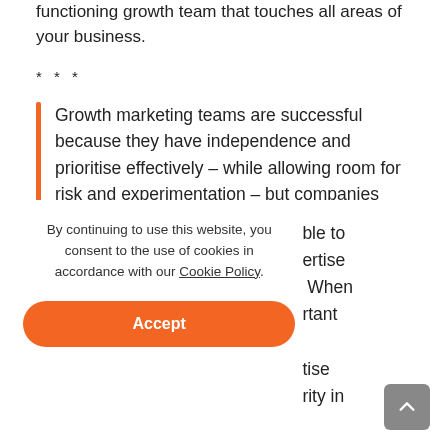functioning growth team that touches all areas of your business.
* * *
Growth marketing teams are successful because they have independence and prioritise effectively – while allowing room for risk and experimentation – but companies must have the resources to feasibly create a whole team. For start-ups and early stage scale-ups
By continuing to use this website, you consent to the use of cookies in accordance with our Cookie Policy.
Accept
ble to ertise When rtant tise rity in